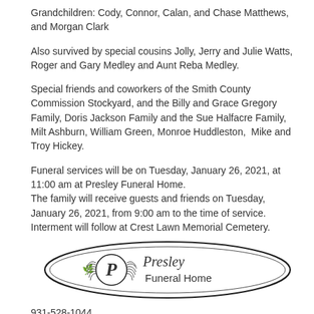Grandchildren: Cody, Connor, Calan, and Chase Matthews, and Morgan Clark
Also survived by special cousins Jolly, Jerry and Julie Watts, Roger and Gary Medley and Aunt Reba Medley.
Special friends and coworkers of the Smith County Commission Stockyard, and the Billy and Grace Gregory Family, Doris Jackson Family and the Sue Halfacre Family, Milt Ashburn, William Green, Monroe Huddleston,  Mike and Troy Hickey.
Funeral services will be on Tuesday, January 26, 2021, at 11:00 am at Presley Funeral Home.
The family will receive guests and friends on Tuesday, January 26, 2021, from 9:00 am to the time of service.
Interment will follow at Crest Lawn Memorial Cemetery.
[Figure (logo): Presley Funeral Home oval logo with decorative laurel wreath and stylized P monogram, script text reading Presley and block text reading Funeral Home]
931-528-1044